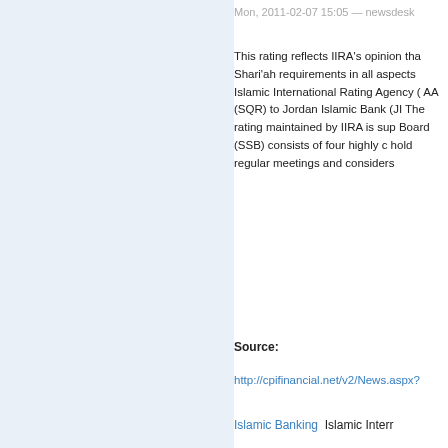Mon, 2011-02-07 15:05 — newsdesk
This rating reflects IIRA's opinion tha Shari'ah requirements in all aspects Islamic International Rating Agency ( AA (SQR) to Jordan Islamic Bank (JI The rating maintained by IIRA is sup Board (SSB) consists of four highly c hold regular meetings and considers
Source:
http://cpifinancial.net/v2/News.aspx?
Islamic Banking  Islamic Interr
(c) The contents of this website are co permission. Any private forwarding is enc Thanks! Information provided are on bes external links we cannot take over respons.